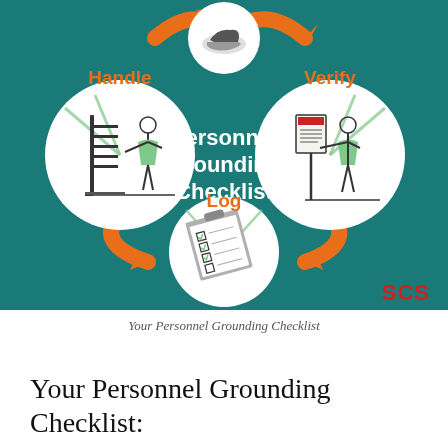[Figure (infographic): Personnel Grounding Checklist infographic on teal/dark-teal background. Three circular icons arranged in a triangle: top-left circle labeled 'Handle' in orange with illustration of person handling ESD-safe rack; top-right circle labeled 'Verify' in orange with illustration of person standing at sign/post; bottom-center circle labeled 'Log' in orange with illustration of a checklist clipboard. Orange curved arrows connect the circles in a cycle. Center text reads 'Personnel Grounding Checklist' in white bold. SCS logo in red bottom-right corner.]
Your Personnel Grounding Checklist
Your Personnel Grounding Checklist: